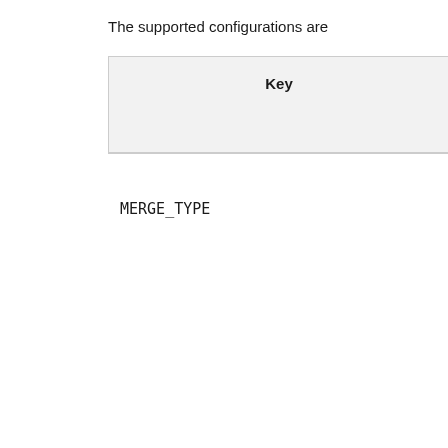The supported configurations are
| Key |
| --- |
| MERGE_TYPE |
MERGE_TYPE